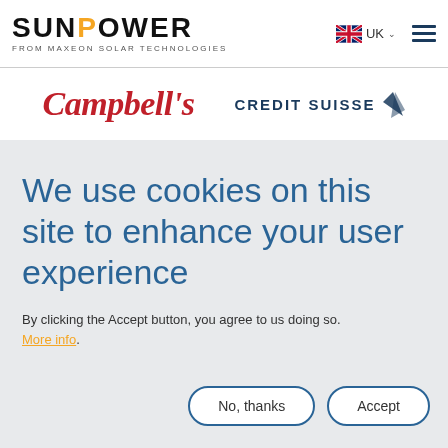[Figure (logo): SunPower logo with orange O, text FROM MAXEON SOLAR TECHNOLOGIES below]
[Figure (logo): UK flag icon with UK label and dropdown chevron, and hamburger menu icon]
[Figure (logo): Campbell's script logo in red]
[Figure (logo): Credit Suisse logo with blue text and sailboat icon]
We use cookies on this site to enhance your user experience
By clicking the Accept button, you agree to us doing so. More info.
No, thanks
Accept